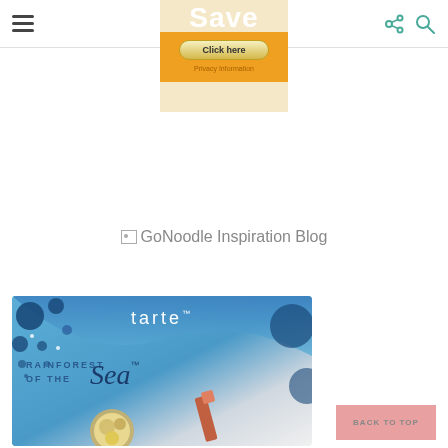[Figure (screenshot): Navigation bar with hamburger menu icon on left, share and search icons on right]
[Figure (screenshot): Advertisement banner showing 'Save' text at top with cream background, orange section below with 'Click here' button and 'Privacy Information' text]
[Figure (screenshot): Broken image placeholder for GoNoodle Inspiration Blog logo]
[Figure (illustration): Tarte cosmetics advertisement - Rainforest of the Sea collection, showing brand name with circles/bubbles design on blue background and cosmetic products]
[Figure (screenshot): Pink 'BACK TO TOP' button in bottom right corner]